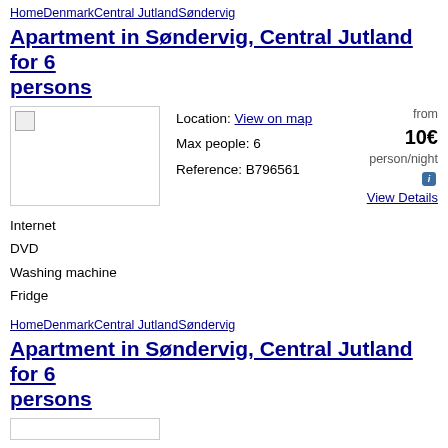HomeDenmarkCentral JutlandSøndervig
Apartment in Søndervig, Central Jutland for 6 persons
Location: View on map
Max people: 6
Reference: B796561
from 10€ person/night
View Details
Internet
DVD
Washing machine
Fridge
HomeDenmarkCentral JutlandSøndervig
Apartment in Søndervig, Central Jutland for 6 persons